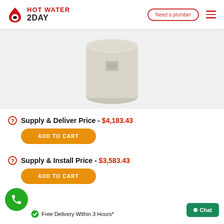HOT WATER 2DAY | Need a plumber
[Figure (photo): White cylindrical hot water heater unit on light grey background]
Supply & Deliver Price - $4,183.43
ADD TO CART
Supply & Install Price - $3,583.43
ADD TO CART
Free Delivery Within 3 Hours*